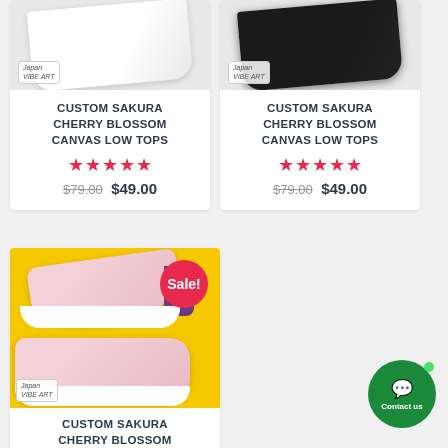[Figure (photo): White canvas low top shoe with cherry blossom print, with Japan Vibe Art logo badge]
CUSTOM SAKURA CHERRY BLOSSOM CANVAS LOW TOPS
★★★★★
$79.00 $49.00
[Figure (photo): Black canvas low top shoe with cherry blossom print, with Japan Vibe Art logo badge]
CUSTOM SAKURA CHERRY BLOSSOM CANVAS LOW TOPS
★★★★★
$79.00 $49.00
[Figure (photo): Cherry blossom slip-on shoes on yellow background with Sale! badge and Japan Vibe Art logo]
CUSTOM SAKURA CHERRY BLOSSOM
Contact us